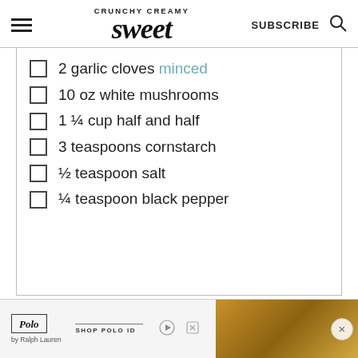CRUNCHY CREAMY Sweet — SUBSCRIBE
2 garlic cloves minced
10 oz white mushrooms
1 ¼ cup half and half
3 teaspoons cornstarch
½ teaspoon salt
¼ teaspoon black pepper
[Figure (infographic): Polo by Ralph Lauren advertisement banner at bottom of page]